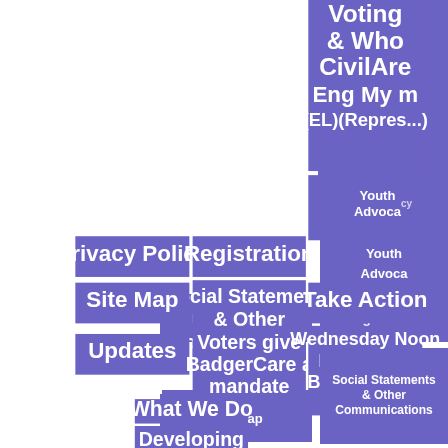[Figure (other): Sitemap/navigation flowchart showing interconnected labeled boxes representing website sections including Voting & Civic Engagement (ELC), Who Are My Representatives, Social Statements & Other Communications, Privacy Policy, Registration, Youth Advocacy, Site Map, Take Action, Updates, Voters give BadgerCare a mandate, Wednesday Noon Live Other Broadcasts & Updates, What We Do, Developing Advocates for a Working...]